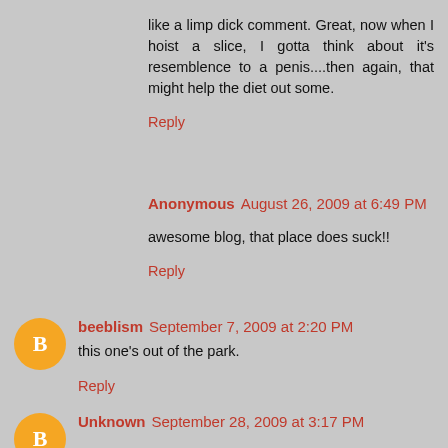like a limp dick comment. Great, now when I hoist a slice, I gotta think about it's resemblence to a penis....then again, that might help the diet out some.
Reply
Anonymous  August 26, 2009 at 6:49 PM
awesome blog, that place does suck!!
Reply
beeblism  September 7, 2009 at 2:20 PM
this one's out of the park.
Reply
Unknown  September 28, 2009 at 3:17 PM
If St. Marks is the standard bearer I've come to the right place. I loved that place.
Reply